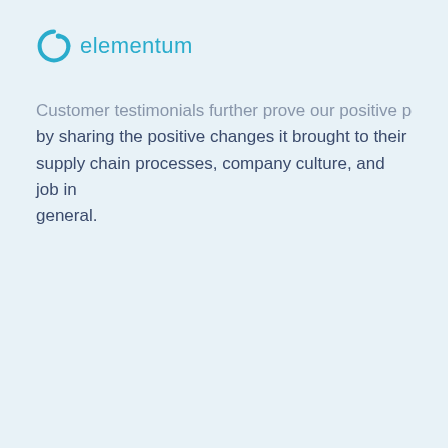elementum
Customer testimonials further prove our positive power, by sharing the positive changes it brought to their supply chain processes, company culture, and job in general.